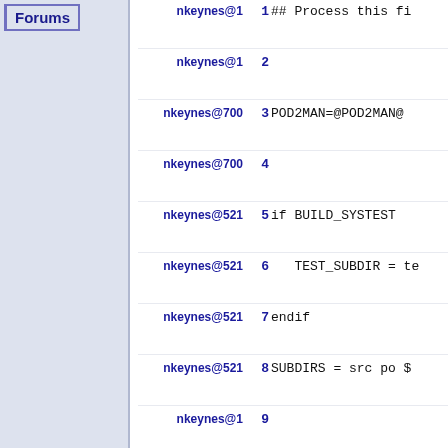Forums
| Author | Line | Code |
| --- | --- | --- |
| nkeynes@1 | 1 | ## Process this fi |
| nkeynes@1 | 2 |  |
| nkeynes@700 | 3 | POD2MAN=@POD2MAN@ |
| nkeynes@700 | 4 |  |
| nkeynes@521 | 5 | if BUILD_SYSTEST |
| nkeynes@521 | 6 |    TEST_SUBDIR = te |
| nkeynes@521 | 7 | endif |
| nkeynes@521 | 8 | SUBDIRS = src po $ |
| nkeynes@1 | 9 |  |
| nkeynes@459 | 10 | EXTRA_DIST = autog |
| nkeynes@1 | 11 |  |